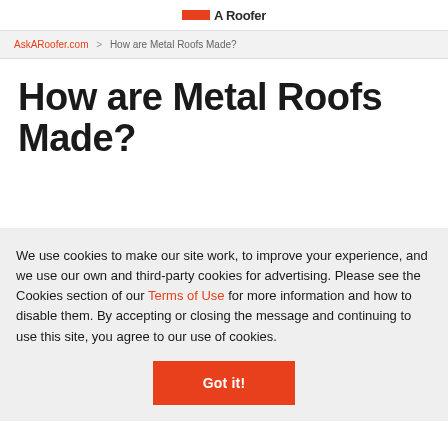Ask A Roofer
AskARoofer.com > How are Metal Roofs Made?
How are Metal Roofs Made?
We use cookies to make our site work, to improve your experience, and we use our own and third-party cookies for advertising. Please see the Cookies section of our Terms of Use for more information and how to disable them. By accepting or closing the message and continuing to use this site, you agree to our use of cookies.
Got it!